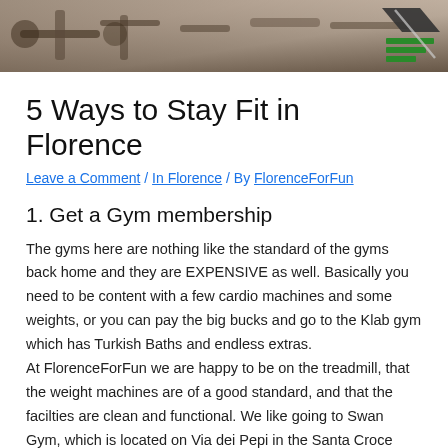[Figure (photo): Gym equipment photo strip showing weights and exercise machines, with a green logo/icon in the upper right corner]
5 Ways to Stay Fit in Florence
Leave a Comment / In Florence / By FlorenceForFun
1. Get a Gym membership
The gyms here are nothing like the standard of the gyms back home and they are EXPENSIVE as well. Basically you need to be content with a few cardio machines and some weights, or you can pay the big bucks and go to the Klab gym which has Turkish Baths and endless extras.
At FlorenceForFun we are happy to be on the treadmill, that the weight machines are of a good standard, and that the facilties are clean and functional. We like going to Swan Gym, which is located on Via dei Pepi in the Santa Croce area.
Gym Hours: Monday-Friday 9am-10pm; Saturday 10am-6 pm;